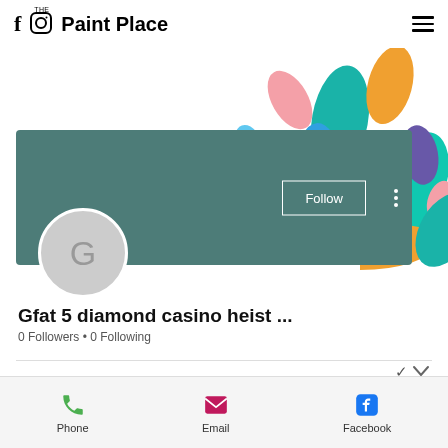f [instagram] THE Paint Place [menu]
[Figure (illustration): Colorful paint splash drops in teal, blue, purple, orange, and pink on white background]
[Figure (infographic): Profile card with teal/dark green background showing Follow button and three-dot menu, with circular grey avatar showing letter G]
Gfat 5 diamond casino heist ...
0 Followers • 0 Following
Phone  Email  Facebook